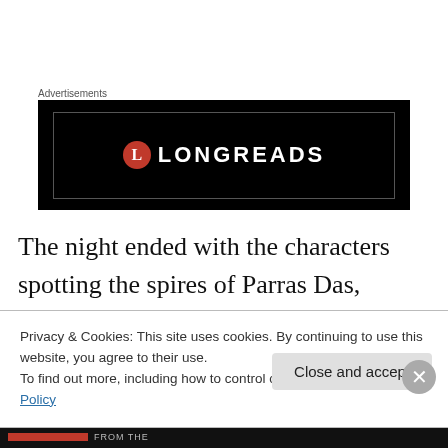Advertisements
[Figure (logo): Longreads advertisement banner: black background with red circle L logo and LONGREADS text in white]
The night ended with the characters spotting the spires of Parras Das, which sits on the conflux of two arrow-straight canal that stretch to the horizons. I opted for a fusion of the Revelations of Mars Barsoomian feel and that of Space: 1889, with its canals and zones of life for a mile
Privacy & Cookies: This site uses cookies. By continuing to use this website, you agree to their use.
To find out more, including how to control cookies, see here: Cookie Policy
Close and accept